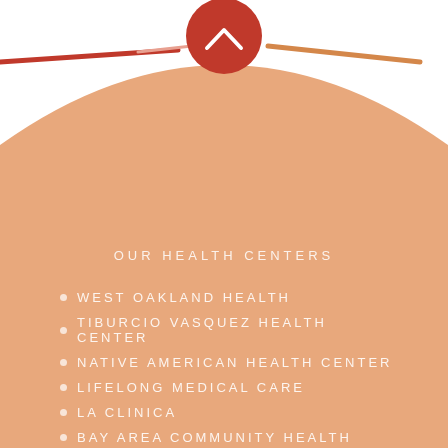[Figure (illustration): Large peach/tan rounded arc shape filling most of the page, with a dark red circular button at the top center containing a white chevron/up-arrow icon. Two decorative horizontal lines visible at the top: a dark red line on the left and an orange line on the right.]
OUR HEALTH CENTERS
WEST OAKLAND HEALTH
TIBURCIO VASQUEZ HEALTH CENTER
NATIVE AMERICAN HEALTH CENTER
LIFELONG MEDICAL CARE
LA CLINICA
BAY AREA COMMUNITY HEALTH